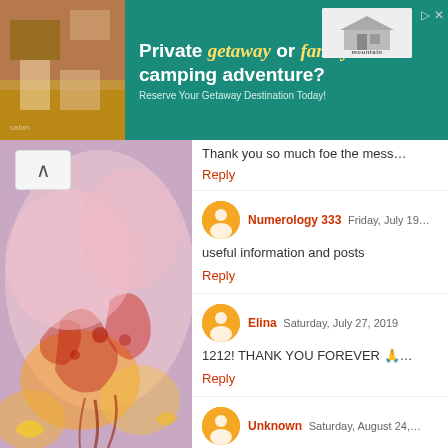[Figure (photo): Advertisement banner for Mountain City Cabins — teal/green background with cabin interior photo on left, text 'Private getaway or family camping adventure? Reserve Your Getaway Destination Today!' and Mountain City Cabins logo on right.]
[Figure (photo): Watercolor painting with abstract red, orange, pink, purple and yellow floral/fluid shapes on left side of page.]
Thank you so much foe the mes…
Reply
Numerology 333  Friday, July 19…
useful information and posts
Reply
Elina  Saturday, July 27, 2019
1212! THANK YOU FOREVER 🙏…
Reply
Unknown  Saturday, August 24,…
1212 is an extremely important a… is something most people won't…